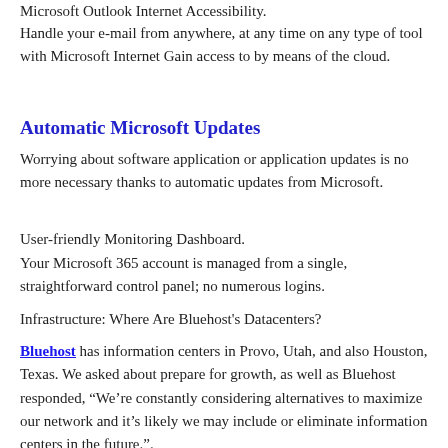Microsoft Outlook Internet Accessibility.
Handle your e-mail from anywhere, at any time on any type of tool with Microsoft Internet Gain access to by means of the cloud.
Automatic Microsoft Updates
Worrying about software application or application updates is no more necessary thanks to automatic updates from Microsoft.
User-friendly Monitoring Dashboard.
Your Microsoft 365 account is managed from a single, straightforward control panel; no numerous logins.
Infrastructure: Where Are Bluehost's Datacenters?
Bluehost has information centers in Provo, Utah, and also Houston, Texas. We asked about prepare for growth, as well as Bluehost responded, “We’re constantly considering alternatives to maximize our network and it’s likely we may include or eliminate information centers in the future.".